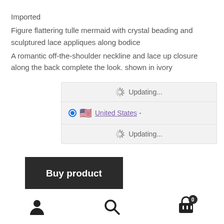Imported
Figure flattering tulle mermaid with crystal beading and sculptured lace appliques along bodice
A romantic off-the-shoulder neckline and lace up closure along the back complete the look. shown in ivory
[Figure (screenshot): Shipping selector widget showing 'Updating...' spinner rows and a United States option with flag and radio button selected, with 'Updating...' below]
[Figure (other): Buy product button - dark/black rectangular button]
[Figure (other): Bottom navigation bar with user icon, search icon, and cart icon with badge showing 0]